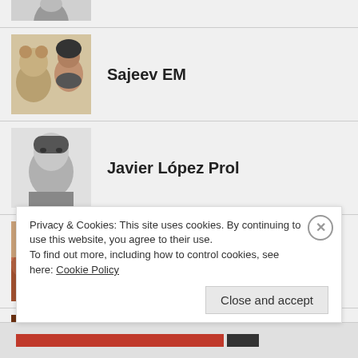[Figure (photo): Partial profile photo at top, cropped person in black and white]
Sajeev EM
Javier López Prol
Johannes Haas
Kian Mintz-Woo
Privacy & Cookies: This site uses cookies. By continuing to use this website, you agree to their use.
To find out more, including how to control cookies, see here: Cookie Policy
Close and accept